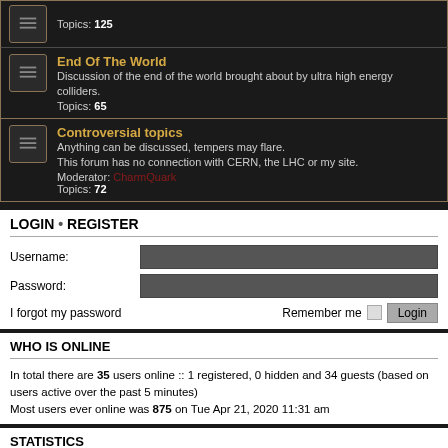Topics: 125
End Of The World
Discussion of the end of the world brought about by ultra high energy colliders.
Topics: 65
Controversial topics
Anything can be discussed, tempers may flare.
This forum has no connection with CERN, the LHC or my site.
Moderator: CharmQuark
Topics: 72
LOGIN • REGISTER
Username:
Password:
I forgot my password
Remember me
WHO IS ONLINE
In total there are 35 users online :: 1 registered, 0 hidden and 34 guests (based on users active over the past 5 minutes)
Most users ever online was 875 on Tue Apr 21, 2020 11:31 am
STATISTICS
Total posts 10951 • Total topics 1218 • Total members 721 • Our newest member pberg
Board index  Contact us  The team
Powered by phpBB® Forum Software © phpBB Limited